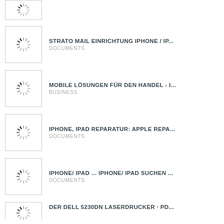[Figure (screenshot): Partial thumbnail with loading spinner, top item cut off]
STRATO MAIL EINRICHTUNG IPHONE / IP... | DOCUMENTS
MOBILE LÖSUNGEN FÜR DEN HANDEL - I... | BUSINESS
IPHONE, IPAD REPARATUR: APPLE REPA... | DOCUMENTS
IPHONE/ IPAD ... IPHONE/ IPAD SUCHEN ... | DOCUMENTS
DER DELL 5230DN LASERDRUCKER · PD...